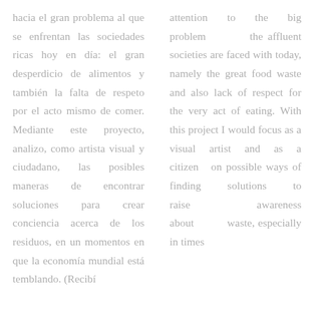hacia el gran problema al que se enfrentan las sociedades ricas hoy en día: el gran desperdicio de alimentos y también la falta de respeto por el acto mismo de comer. Mediante este proyecto, analizo, como artista visual y ciudadano, las posibles maneras de encontrar soluciones para crear conciencia acerca de los residuos, en un momentos en que la economía mundial está temblando. (Recibí
attention to the big problem the affluent societies are faced with today, namely the great food waste and also lack of respect for the very act of eating. With this project I would focus as a visual artist and as a citizen on possible ways of finding solutions to raise awareness about waste, especially in times